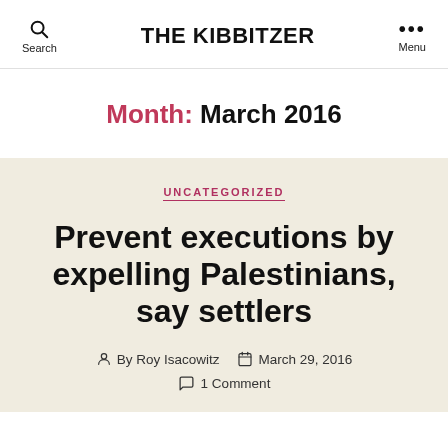THE KIBBITZER
Month: March 2016
UNCATEGORIZED
Prevent executions by expelling Palestinians, say settlers
By Roy Isacowitz   March 29, 2016   1 Comment